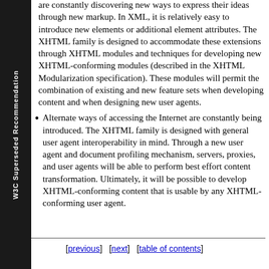W3C Superseded Recommendation
are constantly discovering new ways to express their ideas through new markup. In XML, it is relatively easy to introduce new elements or additional element attributes. The XHTML family is designed to accommodate these extensions through XHTML modules and techniques for developing new XHTML-conforming modules (described in the XHTML Modularization specification). These modules will permit the combination of existing and new feature sets when developing content and when designing new user agents.
Alternate ways of accessing the Internet are constantly being introduced. The XHTML family is designed with general user agent interoperability in mind. Through a new user agent and document profiling mechanism, servers, proxies, and user agents will be able to perform best effort content transformation. Ultimately, it will be possible to develop XHTML-conforming content that is usable by any XHTML-conforming user agent.
[previous]  [next]  [table of contents]